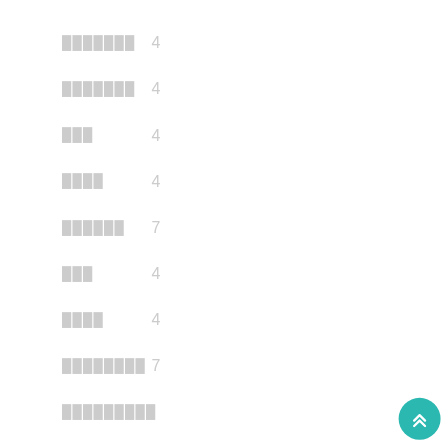███████  4
███████  4
███  4
████  4
██████  7
███  4
████  4
████████  7
█████████
██████████  6